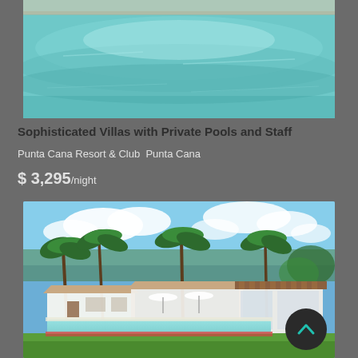[Figure (photo): Aerial/close-up view of a swimming pool with turquoise water]
Sophisticated Villas with Private Pools and Staff
Punta Cana Resort & Club  Punta Cana
$ 3,295/night
[Figure (photo): Luxury villa with private pool, palm trees, and lush gardens at Punta Cana Resort & Club]